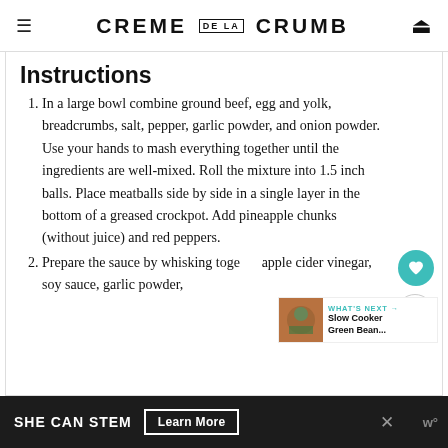CREME DE LA CRUMB
Instructions
In a large bowl combine ground beef, egg and yolk, breadcrumbs, salt, pepper, garlic powder, and onion powder. Use your hands to mash everything together until the ingredients are well-mixed. Roll the mixture into 1.5 inch balls. Place meatballs side by side in a single layer in the bottom of a greased crockpot. Add pineapple chunks (without juice) and red peppers.
Prepare the sauce by whisking together apple cider vinegar, soy sauce, garlic powder,
[Figure (other): WHAT'S NEXT arrow with thumbnail image of Slow Cooker Green Bean recipe]
SHE CAN STEM  Learn More